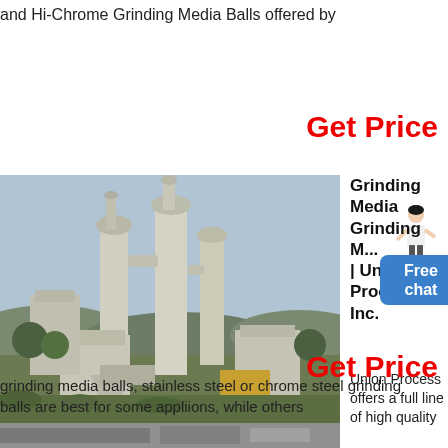and Hi-Chrome Grinding Media Balls offered by
Get Price
[Figure (photo): Industrial grinding mill facility with large cylindrical towers and mechanical equipment outdoors]
Grinding Media Grinding Media | Union Process, Inc.
Union Process offers a full line of high quality grinding media balls, stainless steel or chrome steel grinding balls are best for some appliions, while others
Get Price
[Figure (photo): Bottom strip image partially visible]